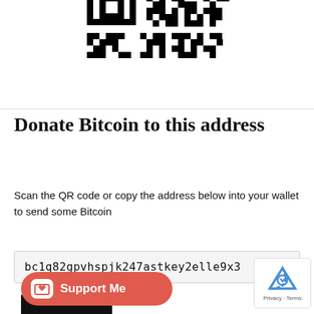[Figure (other): Partial QR code image showing the bottom portion of a Bitcoin donation QR code with black and white modules.]
Donate Bitcoin to this address
Scan the QR code or copy the address below into your wallet to send some Bitcoin
bc1q82gpvhspjk247astkey2elle9x3